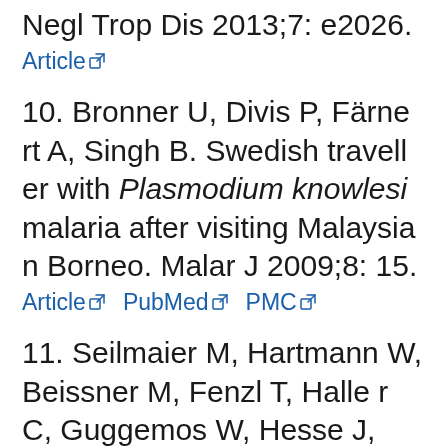Negl Trop Dis 2013;7: e2026.
Article [external link]
10. Bronner U, Divis P, Färnert A, Singh B. Swedish traveller with Plasmodium knowlesi malaria after visiting Malaysian Borneo. Malar J 2009;8: 15.
Article [external link]  PubMed [external link]  PMC [external link]
11. Seilmaier M, Hartmann W, Beissner M, Fenzl T, Haller C, Guggemos W, Hesse J, Harle A, Bretzel G, Sack S. S